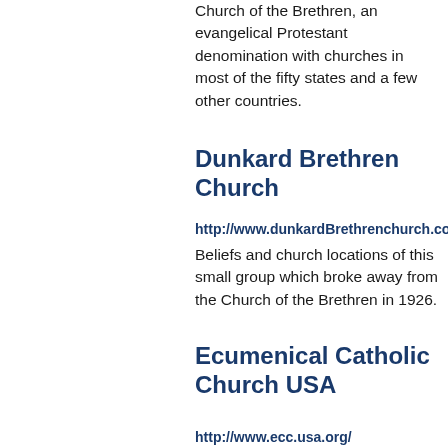Church of the Brethren, an evangelical Protestant denomination with churches in most of the fifty states and a few other countries.
Dunkard Brethren Church
http://www.dunkardBrethrenchurch.com/
Beliefs and church locations of this small group which broke away from the Church of the Brethren in 1926.
Ecumenical Catholic Church USA
http://www.ecc.usa.org/